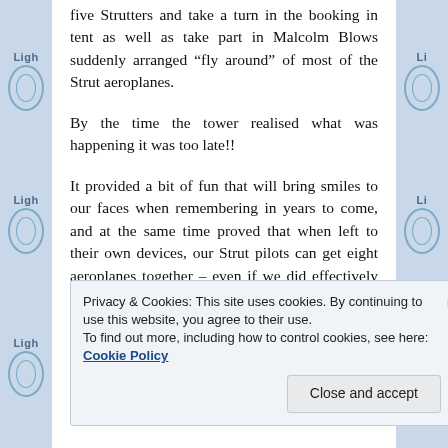five Strutters and take a turn in the booking in tent as well as take part in Malcolm Blows suddenly arranged “fly around” of most of the Strut aeroplanes.
By the time the tower realised what was happening it was too late!!
It provided a bit of fun that will bring smiles to our faces when remembering in years to come, and at the same time proved that when left to their own devices, our Strut pilots can get eight aeroplanes together – even if we did effectively close the airfield while
Privacy & Cookies: This site uses cookies. By continuing to use this website, you agree to their use.
To find out more, including how to control cookies, see here: Cookie Policy